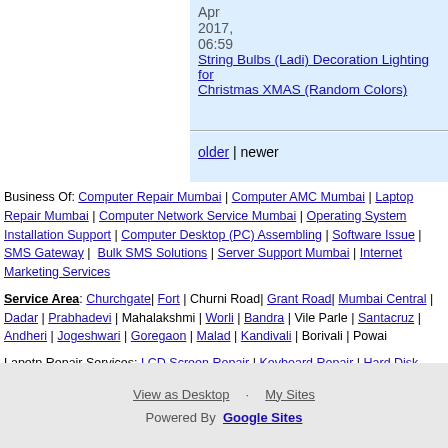Apr 2017, 06:59 String Bulbs (Ladi) Decoration Lighting for Christmas XMAS (Random Colors)
older | newer
Business Of: Computer Repair Mumbai | Computer AMC Mumbai | Laptop Repair Mumbai | Computer Network Service Mumbai | Operating System Installation Support | Computer Desktop (PC) Assembling | Software Issue | SMS Gateway | Bulk SMS Solutions | Server Support Mumbai | Internet Marketing Services
Service Area: Churchgate| Fort | Churni Road| Grant Road| Mumbai Central | Dadar | Prabhadevi | Mahalakshmi | Worli | Bandra | Vile Parle | Santacruz | Andheri | Jogeshwari | Goregaon | Malad | Kandivali | Borivali | Powai
Lapotp Repair Services: LCD Screen Repair | Keyboard Repair | Hard Disk (HDD) Repair | DVD Drive Repair | Memory Repair | Motherboard Repair | Inverter Repair | Software Installation Support
Brand: HP | Dell | IBM | Compaq | Lenovo | Acer | Sony Vaio
View as Desktop · My Sites
Powered By Google Sites